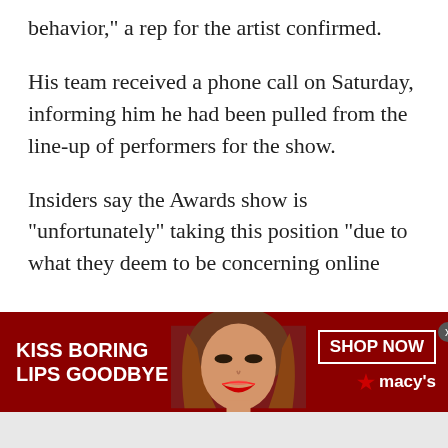behavior,” a rep for the artist confirmed.
His team received a phone call on Saturday, informing him he had been pulled from the line-up of performers for the show.
Insiders say the Awards show is “unfortunately” taking this position “due to what they deem to be concerning online
[Figure (infographic): Macy's advertisement banner with red background. Left side shows white bold text 'KISS BORING LIPS GOODBYE'. Center shows a woman's face with red lips. Right side shows 'SHOP NOW' button and Macy's star logo in white.]